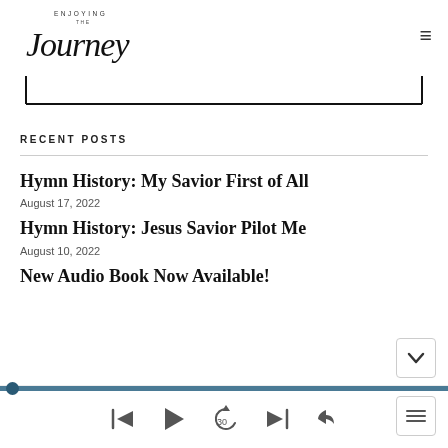[Figure (logo): Enjoying the Journey cursive logo with 'ENJOYING THE' in small caps above 'Journey' in large italic script]
RECENT POSTS
Hymn History: My Savior First of All
August 17, 2022
Hymn History: Jesus Savior Pilot Me
August 10, 2022
New Audio Book Now Available!